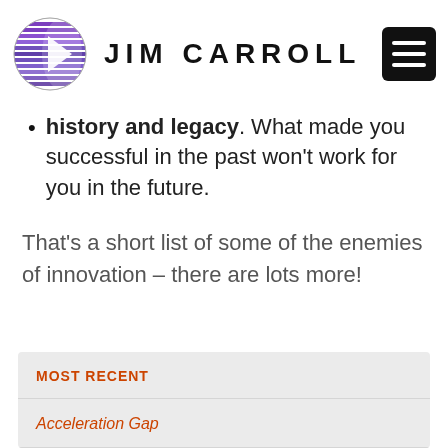JIM CARROLL
history and legacy. What made you successful in the past won't work for you in the future.
That's a short list of some of the enemies of innovation – there are lots more!
MOST RECENT
Acceleration Gap